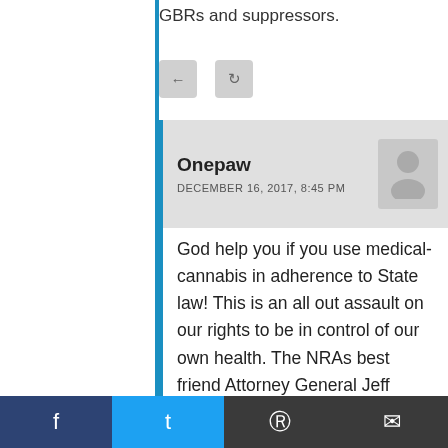GBRs and suppressors.
[reply] [share]
Onepaw
DECEMBER 16, 2017, 8:45 PM
God help you if you use medical-cannabis in adherence to State law! This is an all out assault on our rights to be in control of our own health. The NRAs best friend Attorney General Jeff Sessions is behind the NICS “fix.” If you want to see the face of Trump era gun control look no further than Hawaii, they are already turning their will be coming for you
f  Twitter  Reddit  Email